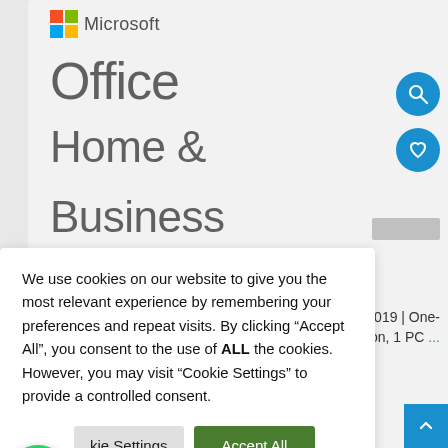[Figure (screenshot): Microsoft Office Home & Business product page screenshot showing Microsoft logo, Office Home & Business title text, search and heart icon buttons in blue circles, and a partially visible product listing]
We use cookies on our website to give you the most relevant experience by remembering your preferences and repeat visits. By clicking “Accept All”, you consent to the use of ALL the cookies. However, you may visit “Cookie Settings” to provide a controlled consent.
kie Settings
Accept All
2019 | One-person, 1 PC ...